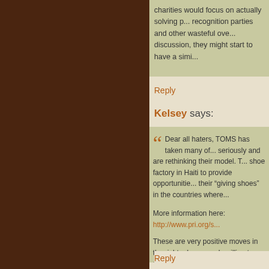charities would focus on actually solving p... recognition parties and other wasteful ove... discussion, they might start to have a simi...
Reply
Kelsey says:
Dear all haters, TOMS has taken many of ... seriously and are rethinking their model. T... shoe factory in Haiti to provide opportunitie... their "giving shoes" in the countries where...
These are very positive moves in the right... brave souls willing to speak out about how... and lasting impact on our world.
More information here: http://www.pri.org/s... one-give-one-model-helping-needy
Reply